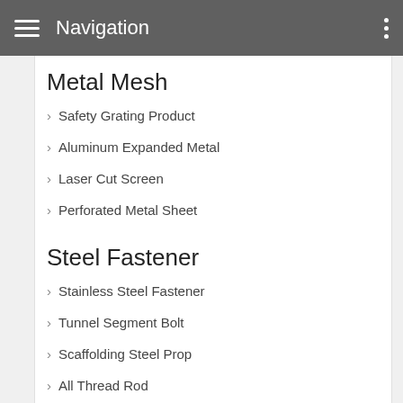Navigation
Metal Mesh
Safety Grating Product
Aluminum Expanded Metal
Laser Cut Screen
Perforated Metal Sheet
Steel Fastener
Stainless Steel Fastener
Tunnel Segment Bolt
Scaffolding Steel Prop
All Thread Rod
High Strength Hex Bolt
Steel Structural Bolt
Weld Stud
Anchor Bolt